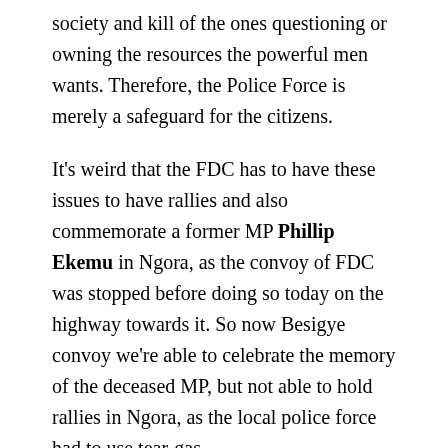society and kill of the ones questioning or owning the resources the powerful men wants. Therefore, the Police Force is merely a safeguard for the citizens.
It's weird that the FDC has to have these issues to have rallies and also commemorate a former MP Phillip Ekemu in Ngora, as the convoy of FDC was stopped before doing so today on the highway towards it. So now Besigye convoy we're able to celebrate the memory of the deceased MP, but not able to hold rallies in Ngora, as the local police force had to use tear-gas.
“Besigye had planned to hold massive rallies in Teso Sub-region this week but the police warned him to abort his intentions, assuring him that such rallies would be handled as illegal assemblies” (Grejeen News Uganda,